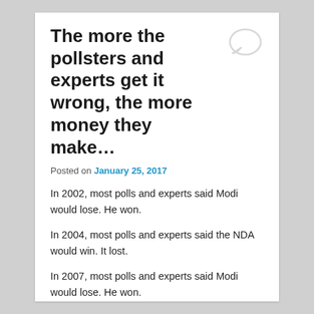The more the pollsters and experts get it wrong, the more money they make…
Posted on January 25, 2017
In 2002, most polls and experts said Modi would lose. He won.
In 2004, most polls and experts said the NDA would win. It lost.
In 2007, most polls and experts said Modi would lose. He won.
In 2009, most polls and experts said Congress wouldn't cross 200. It did.